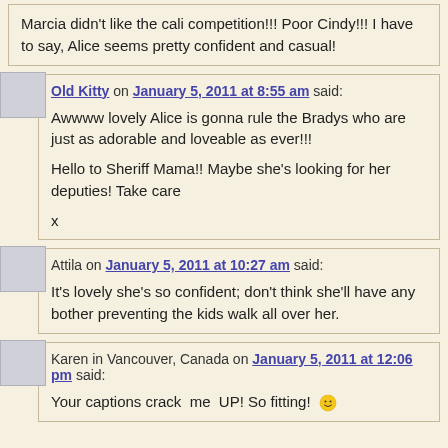Marcia didn't like the cali competition!!! Poor Cindy!!! I have to say, Alice seems pretty confident and casual!
Old Kitty on January 5, 2011 at 8:55 am said:
Awwww lovely Alice is gonna rule the Bradys who are just as adorable and loveable as ever!!!

Hello to Sheriff Mama!! Maybe she's looking for her deputies! Take care
x
Attila on January 5, 2011 at 10:27 am said:
It's lovely she's so confident; don't think she'll have any bother preventing the kids walk all over her.
Karen in Vancouver, Canada on January 5, 2011 at 12:06 pm said:
Your captions crack me UP! So fitting!